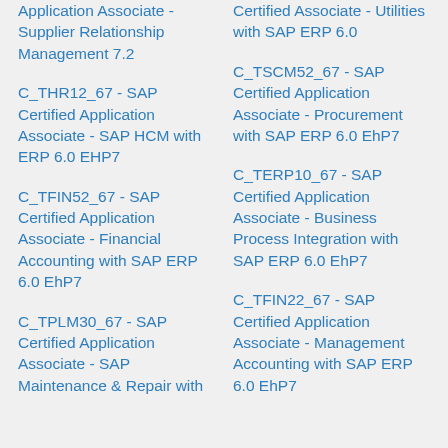Application Associate - Supplier Relationship Management 7.2
Certified Associate - Utilities with SAP ERP 6.0
C_TSCM52_67 - SAP Certified Application Associate - Procurement with SAP ERP 6.0 EhP7
C_THR12_67 - SAP Certified Application Associate - SAP HCM with ERP 6.0 EHP7
C_TERP10_67 - SAP Certified Application Associate - Business Process Integration with SAP ERP 6.0 EhP7
C_TFIN52_67 - SAP Certified Application Associate - Financial Accounting with SAP ERP 6.0 EhP7
C_TFIN22_67 - SAP Certified Application Associate - Management Accounting with SAP ERP 6.0 EhP7
C_TPLM30_67 - SAP Certified Application Associate - SAP Maintenance & Repair with